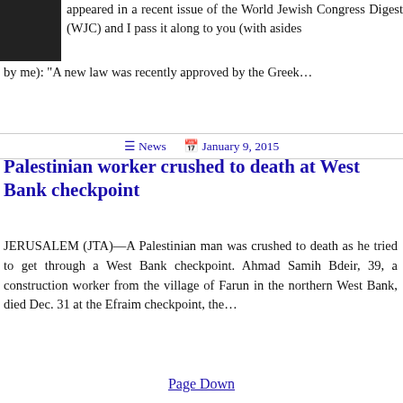[Figure (photo): A person wearing dark clothing, photo cropped at top-left]
appeared in a recent issue of the World Jewish Congress Digest (WJC) and I pass it along to you (with asides by me): "A new law was recently approved by the Greek...
☰ News  📅 January 9, 2015
Palestinian worker crushed to death at West Bank checkpoint
JERUSALEM (JTA)—A Palestinian man was crushed to death as he tried to get through a West Bank checkpoint. Ahmad Samih Bdeir, 39, a construction worker from the village of Farun in the northern West Bank, died Dec. 31 at the Efraim checkpoint, the...
Page Down